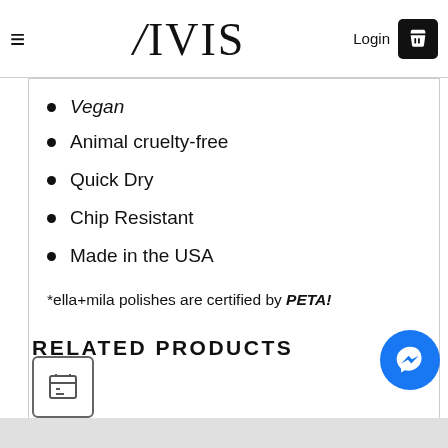YIVIS  Login [cart icon]
Vegan
Animal cruelty-free
Quick Dry
Chip Resistant
Made in the USA
*ella+mila polishes are certified by PETA!
RELATED PRODUCTS